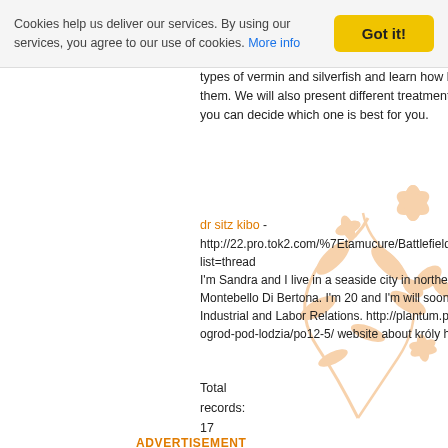Cookies help us deliver our services. By using our services, you agree to our use of cookies. More info
Got it!
types of vermin and silverfish and learn how best to control them. We will also present different treatment methods so you can decide which one is best for you.
dr sitz kibo - http://22.pro.tok2.com/%7Etamucure/Battlefieldlady_counseling/yybbs.list=thread
I'm Sandra and I live in a seaside city in northern Italy, Montebello Di Bertona. I'm 20 and I'm will soon finish my stud at Industrial and Labor Relations. http://plantum.pl/project/jasm ogrod-pod-lodzia/po12-5/ website about króly hannover
Total records:
17
ADVERTISEMENT
» Phone Replacement Parts Wholesale through a wide selection of Cell Phone Replacement Parts & Repair Tools for iPhone iPad,Mobile Phone,Tablet at phone-part.com.
» smm panel SMMWEBS is an SMM PANEL company that provides a service that helps you access hundreds of SMM websites to promote your business online. Boost Your SMM Panel FREE 2022.
» Best SMM ... and SMM Panel is an online store. Website where you can buy cheap TikTok,Mi...